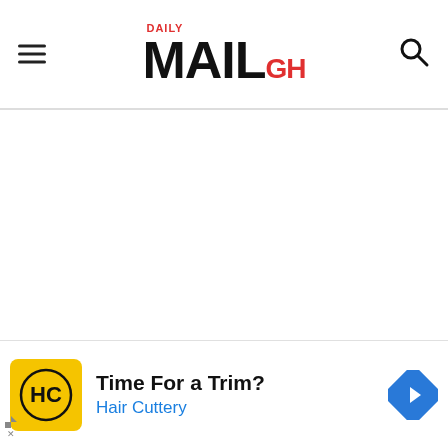Daily MAIL GH
[Figure (other): Main content area - blank white space below header]
[Figure (other): Collapsible chevron bar at bottom of content area]
[Figure (other): Advertisement banner: Time For a Trim? Hair Cuttery with HC logo and navigation arrow icon]